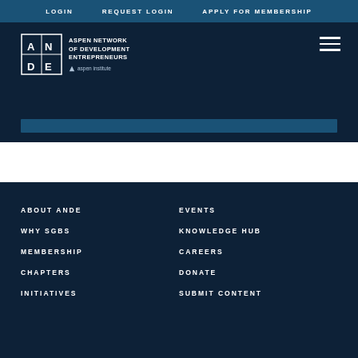LOGIN | REQUEST LOGIN | APPLY FOR MEMBERSHIP
[Figure (logo): ANDE - Aspen Network of Development Entrepreneurs logo with Aspen Institute branding]
ABOUT ANDE
WHY SGBS
MEMBERSHIP
CHAPTERS
INITIATIVES
EVENTS
KNOWLEDGE HUB
CAREERS
DONATE
SUBMIT CONTENT